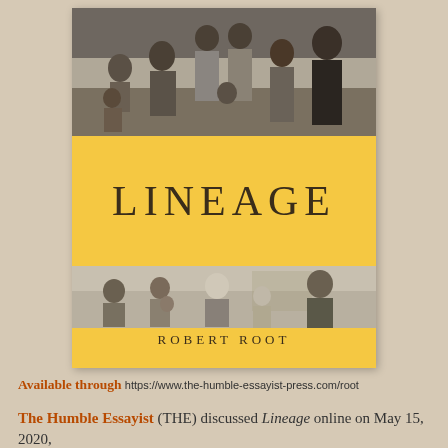[Figure (photo): Book cover for 'Lineage' by Robert Root. The cover features a yellow band in the center with the title 'LINEAGE' in large serif text. Above and below the yellow band are black-and-white historical photographs of family groups. The top photo shows a large group of adults and children posed together. The bottom strip shows several individuals including an elderly man and a soldier. The author name 'ROBERT ROOT' is printed in spaced capitals on the lower yellow section.]
Available through https://www.the-humble-essayist-press.com/root
The Humble Essayist (THE) discussed Lineage online on May 15, 2020,